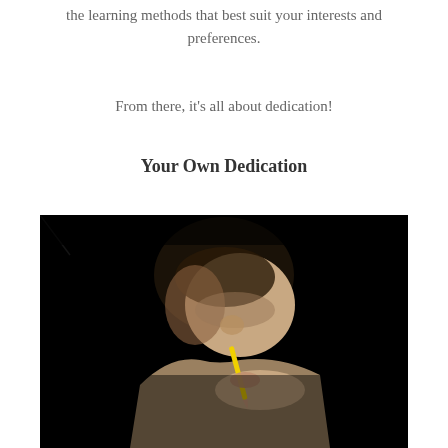the learning methods that best suit your interests and preferences.
From there, it's all about dedication!
Your Own Dedication
[Figure (photo): A young man with dark curly hair, wearing a beige jacket, looking down thoughtfully while holding a pencil to his mouth, photographed against a dark black background in a contemplative study pose.]